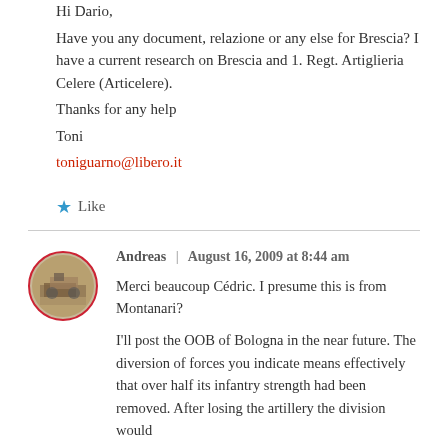Hi Dario,
Have you any document, relazione or any else for Brescia? I have a current research on Brescia and 1. Regt. Artiglieria Celere (Articelere).
Thanks for any help
Toni
toniguarno@libero.it
★ Like
Andreas | August 16, 2009 at 8:44 am
Merci beaucoup Cédric. I presume this is from Montanari?
I'll post the OOB of Bologna in the near future. The diversion of forces you indicate means effectively that over half its infantry strength had been removed. After losing the artillery the division would